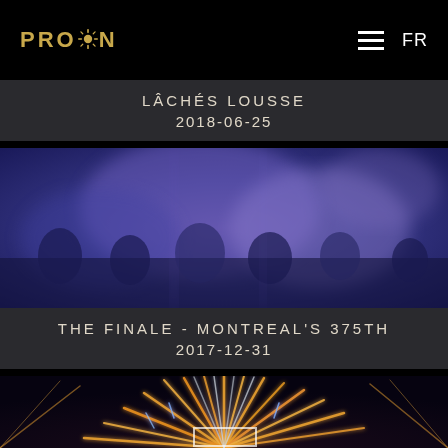PROLUXON  ≡  FR
LÂCHÉS LOUSSE
2018-06-25
[Figure (photo): Blurred blue and purple photo of a crowd at an event, lit with stage lighting]
THE FINALE - MONTREAL'S 375TH
2017-12-31
[Figure (photo): Fireworks display at night with golden and white streaks of light against a dark sky, with a white rectangular frame element in the lower center]